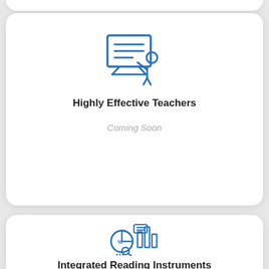[Figure (illustration): Blue line-art icon of a teacher pointing at a whiteboard/presentation board with text lines, with a person/student figure beside it]
Highly Effective Teachers
Coming Soon
[Figure (illustration): Blue line-art icon of a pie chart with magnifying glass and bar charts, representing integrated reading instruments or data analytics]
Integrated Reading Instruments